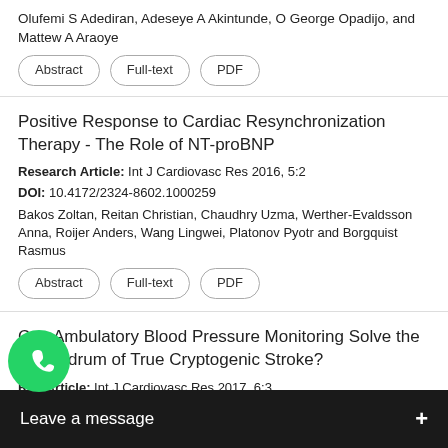Olufemi S Adediran, Adeseye A Akintunde, O George Opadijo, and Mattew A Araoye
Abstract | Full-text | PDF
Positive Response to Cardiac Resynchronization Therapy - The Role of NT-proBNP
Research Article: Int J Cardiovasc Res 2016, 5:2
DOI: 10.4172/2324-8602.1000259
Bakos Zoltan, Reitan Christian, Chaudhry Uzma, Werther-Evaldsson Anna, Roijer Anders, Wang Lingwei, Platonov Pyotr and Borgquist Rasmus
Abstract | Full-text | PDF
Can Ambulatory Blood Pressure Monitoring Solve the Conundrum of True Cryptogenic Stroke?
Research Article: Int J Cardiovasc Res 2017, 6:3
Mona... ahab and Marwa Gad
Abs...
[Figure (screenshot): WhatsApp chat icon (green circle with phone) and 'Leave a message +' overlay bar in dark background at bottom of screen]